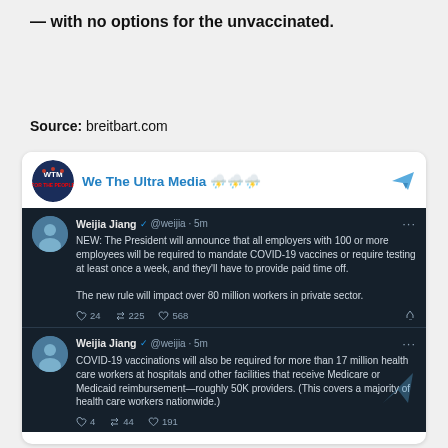— with no options for the unvaccinated.
Source: breitbart.com
[Figure (screenshot): Telegram channel post from 'We The Ultra Media' showing two embedded tweets by Weijia Jiang (@weijia). First tweet: 'NEW: The President will announce that all employers with 100 or more employees will be required to mandate COVID-19 vaccines or require testing at least once a week, and they'll have to provide paid time off. The new rule will impact over 80 million workers in private sector.' (24 replies, 225 retweets, 568 likes). Second tweet: 'COVID-19 vaccinations will also be required for more than 17 million health care workers at hospitals and other facilities that receive Medicare or Medicaid reimbursement—roughly 50K providers. (This covers a majority of health care workers nationwide.)' (partial, with 4 replies, 44 retweets, 191 likes visible)]